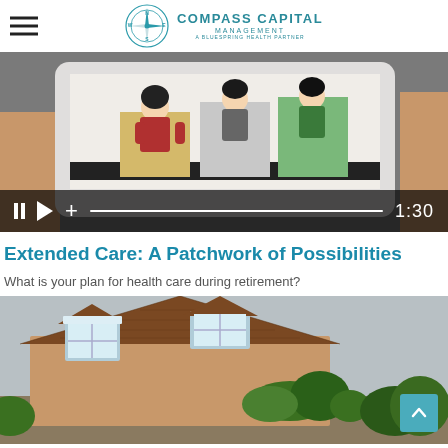Compass Capital Management — A Bluespring Health Partner
[Figure (screenshot): Video thumbnail showing a tablet device with cartoon characters, video player controls at bottom including pause, play, add, progress bar and time 1:30]
Extended Care: A Patchwork of Possibilities
What is your plan for health care during retirement?
[Figure (photo): Photo of a miniature cottage house with wooden shingle roof, dormer window, and green plants, with a teal scroll-to-top button overlay in bottom right]